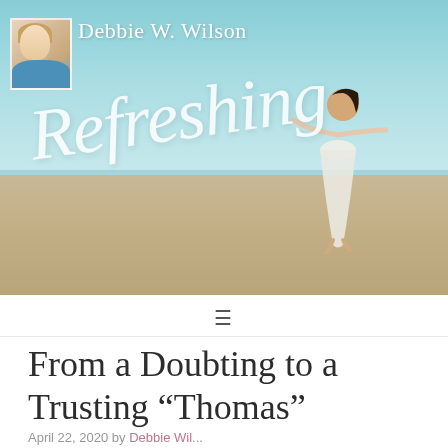[Figure (photo): Website header banner for Debbie W. Wilson's blog 'Refreshing Faith' showing a woman in a white dress jumping joyfully on a beach with teal sky and ocean in background. A small profile photo box appears on the left.]
Debbie W. Wilson
From a Doubting to a Trusting “Thomas”
April 22, 2020 by Debbie Wil...